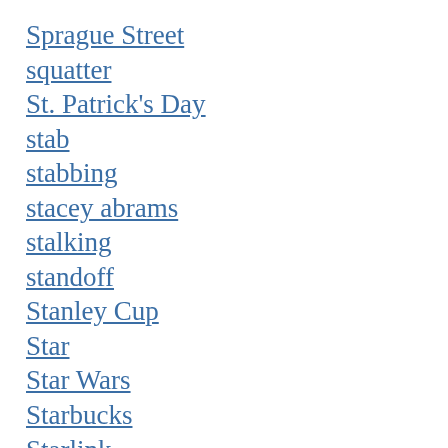Sprague Street
squatter
St. Patrick's Day
stab
stabbing
stacey abrams
stalking
standoff
Stanley Cup
Star
Star Wars
Starbucks
Starlink
State
state employees